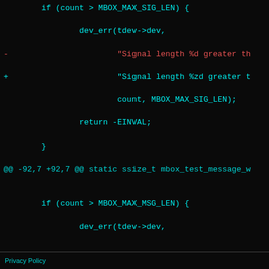[Figure (screenshot): Code diff screenshot showing git diff changes in C code with hunk headers, removed lines in red and added lines in cyan/teal on black background. Shows changes related to MBOX_MAX_SIG_LEN, MBOX_MAX_MSG_LEN format specifiers (%d to %zd), and tx_channel/rx_channel bug fix. Also shows tdev->tx_channel and tdev->rx_channel assignments and mbox_test_probe function diff.]
Privacy Policy